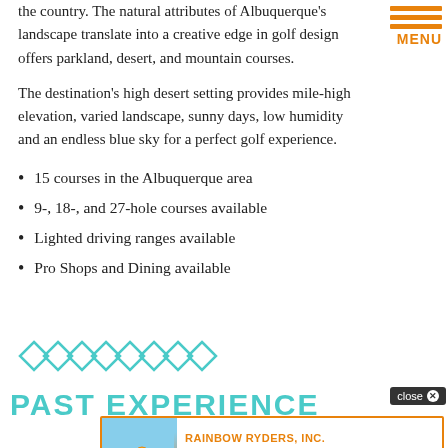the country. The natural attributes of Albuquerque's landscape translate into a creative edge in golf design offers parkland, desert, and mountain courses.
The destination's high desert setting provides mile-high elevation, varied landscape, sunny days, low humidity and an endless blue sky for a perfect golf experience.
15 courses in the Albuquerque area
9-, 18-, and 27-hole courses available
Lighted driving ranges available
Pro Shops and Dining available
[Figure (illustration): Row of teal/turquoise diamond shapes as a decorative divider]
PAST EXPERIENCE
[Figure (infographic): Advertisement banner for Rainbow Ryders, Inc. — #1 Rated Hot Air Balloon Ride Company in the U.S. Reserve now! more]